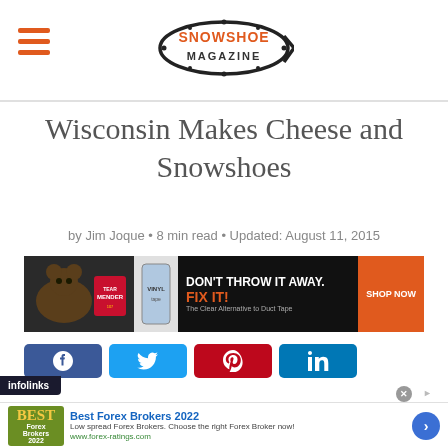Snowshoe Magazine
Wisconsin Makes Cheese and Snowshoes
by Jim Joque • 8 min read • Updated: August 11, 2015
[Figure (infographic): Advertisement banner: Tear Mender / Vinyl tape product. Text: DON'T THROW IT AWAY. FIX IT! The Clear Alternative to Duct Tape. SHOP NOW button.]
[Figure (infographic): Social media share buttons: Facebook, Twitter, Pinterest, LinkedIn]
[Figure (infographic): Infolinks bar overlay at bottom left]
[Figure (infographic): Advertisement: Best Forex Brokers 2022. Low spread Forex Brokers. Choose the right Forex Broker now! www.forex-ratings.com]